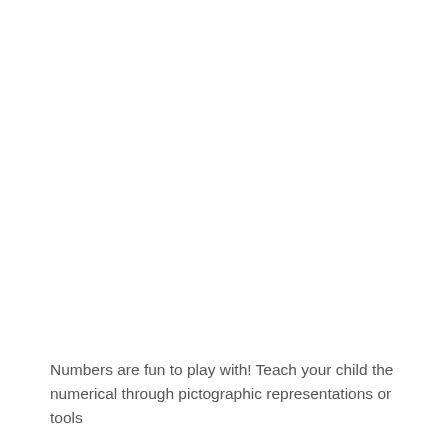Numbers are fun to play with! Teach your child the numerical through pictographic representations or tools